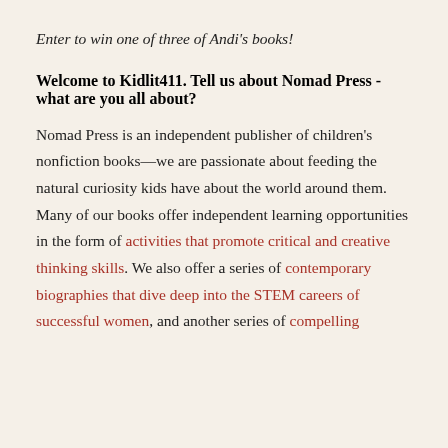Enter to win one of three of Andi's books!
Welcome to Kidlit411. Tell us about Nomad Press - what are you all about?
Nomad Press is an independent publisher of children's nonfiction books—we are passionate about feeding the natural curiosity kids have about the world around them. Many of our books offer independent learning opportunities in the form of activities that promote critical and creative thinking skills. We also offer a series of contemporary biographies that dive deep into the STEM careers of successful women, and another series of compelling